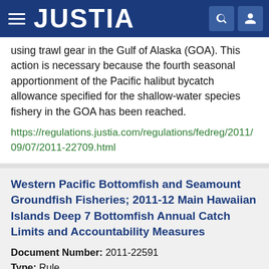JUSTIA
using trawl gear in the Gulf of Alaska (GOA). This action is necessary because the fourth seasonal apportionment of the Pacific halibut bycatch allowance specified for the shallow-water species fishery in the GOA has been reached.
https://regulations.justia.com/regulations/fedreg/2011/09/07/2011-22709.html
Western Pacific Bottomfish and Seamount Groundfish Fisheries; 2011-12 Main Hawaiian Islands Deep 7 Bottomfish Annual Catch Limits and Accountability Measures
Document Number: 2011-22591
Type: Rule
Date: 2011-09-02
Agency: Department of Commerce, National Oceanic